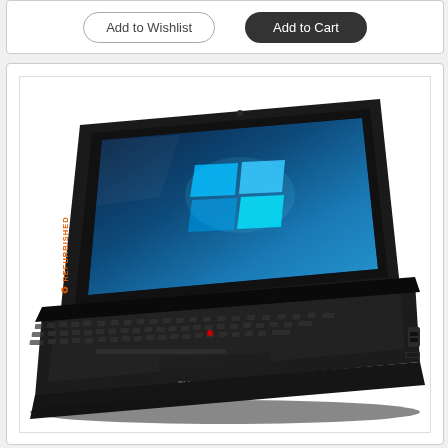Add to Wishlist
Add to Cart
[Figure (photo): Refurbished Lenovo ThinkPad laptop shown at an angle, displaying Windows 10 desktop on the screen. The laptop is black with the ThinkPad logo visible on the base. A 'REFURBISHED' label with a recycling icon appears vertically on the left side of the product image.]